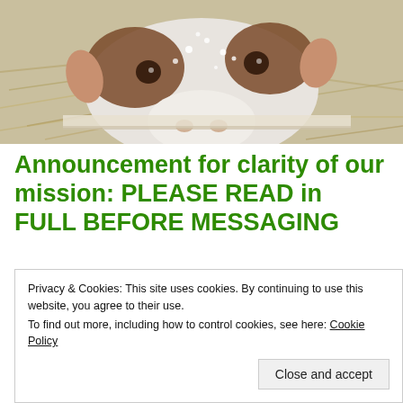[Figure (photo): Close-up photo of a cow or young calf with a white and brown face, snow or frost visible on the animal's head, with hay/straw visible in the background.]
Announcement for clarity of our mission: PLEASE READ in FULL BEFORE MESSAGING
The top 5:
Privacy & Cookies: This site uses cookies. By continuing to use this website, you agree to their use.
To find out more, including how to control cookies, see here: Cookie Policy
Close and accept